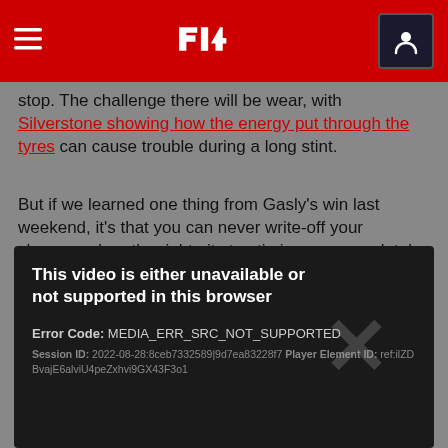F1 navigation bar with hamburger menu, F1 logo, and user icon
stop. The challenge there will be wear, with Silverstone showing how the energy put through the tyres can cause trouble during a long stint.
But if we learned one thing from Gasly's win last weekend, it's that you can never write-off your chances when the right pit stop timing can completely mix up the field.
[Figure (screenshot): Video player error box with black background showing: 'This video is either unavailable or not supported in this browser'. Error Code: MEDIA_ERR_SRC_NOT_SUPPORTED. Session ID: 2022-08-28:8ceb7332589|9d7ea83228f7 Player Element ID: ref:ilZDBvajE6alviU4peZxhvi9GX43F3o1. A large semi-transparent X is overlaid on the right side.]